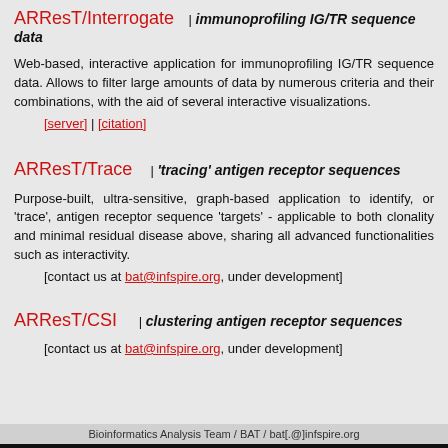ARResT/Interrogate | immunoprofiling IG/TR sequence data
Web-based, interactive application for immunoprofiling IG/TR sequence data. Allows to filter large amounts of data by numerous criteria and their combinations, with the aid of several interactive visualizations.
[server] | [citation]
ARResT/Trace | 'tracing' antigen receptor sequences
Purpose-built, ultra-sensitive, graph-based application to identify, or 'trace', antigen receptor sequence 'targets' - applicable to both clonality and minimal residual disease above, sharing all advanced functionalities such as interactivity.
[contact us at bat@infspire.org, under development]
ARResT/CSI | clustering antigen receptor sequences
[contact us at bat@infspire.org, under development]
Bioinformatics Analysis Team / BAT / bat[.@]infspire.org